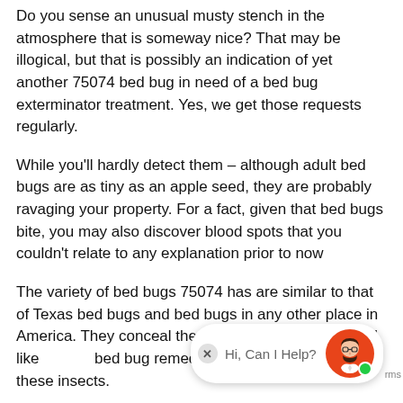Do you sense an unusual musty stench in the atmosphere that is someway nice? That may be illogical, but that is possibly an indication of yet another 75074 bed bug in need of a bed bug exterminator treatment. Yes, we get those requests regularly.
While you'll hardly detect them – although adult bed bugs are as tiny as an apple seed, they are probably ravaging your property. For a fact, given that bed bugs bite, you may also discover blood spots that you couldn't relate to any explanation prior to now
The variety of bed bugs 75074 has are similar to that of Texas bed bugs and bed bugs in any other place in America. They conceal themselves expertly, they spread like bed bug remedies always fail for all of these insects.
[Figure (other): Chat widget overlay with close button, 'Hi, Can I Help?' text, and avatar of a cartoon man with glasses and beard on orange/red circle background with green online indicator dot, and 'rms' text (partial 'terms')]